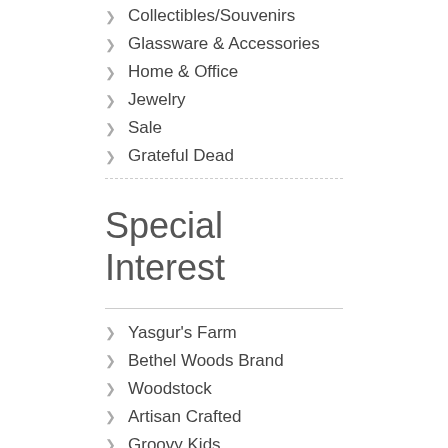Collectibles/Souvenirs
Glassware & Accessories
Home & Office
Jewelry
Sale
Grateful Dead
Special Interest
Yasgur's Farm
Bethel Woods Brand
Woodstock
Artisan Crafted
Groovy Kids
Sale